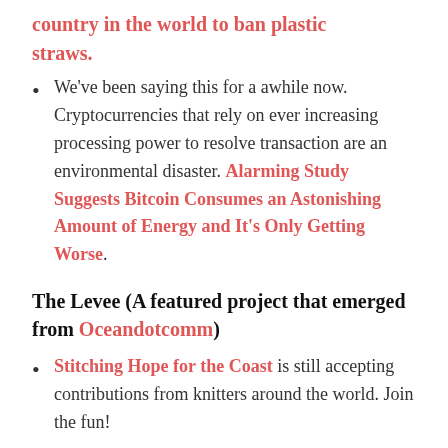country in the world to ban plastic straws.
We've been saying this for a awhile now. Cryptocurrencies that rely on ever increasing processing power to resolve transaction are an environmental disaster. Alarming Study Suggests Bitcoin Consumes an Astonishing Amount of Energy and It's Only Getting Worse.
The Levee (A featured project that emerged from Oceandotcomm)
Stitching Hope for the Coast is still accepting contributions from knitters around the world. Join the fun!